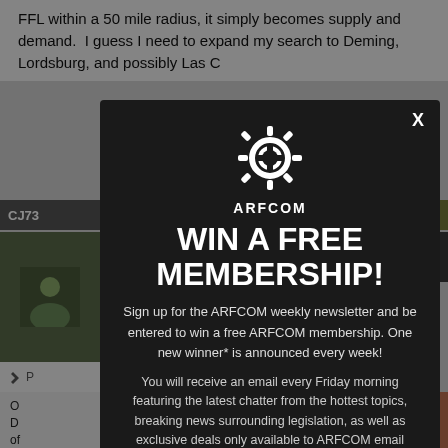FFL within a 50 mile radius, it simply becomes supply and demand. I guess I need to expand my search to Deming, Lordsburg, and possibly Las C...
[Figure (screenshot): Background forum page with user post, username bar, profile photo, and location text showing USA]
[Figure (infographic): ARFCOM modal popup with gear logo, WIN A FREE MEMBERSHIP headline, newsletter signup description, and email input field]